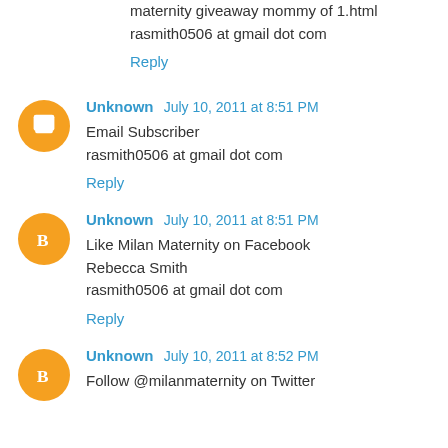maternity giveaway mommy of 1.html
rasmith0506 at gmail dot com
Reply
Unknown  July 10, 2011 at 8:51 PM
Email Subscriber
rasmith0506 at gmail dot com
Reply
Unknown  July 10, 2011 at 8:51 PM
Like Milan Maternity on Facebook
Rebecca Smith
rasmith0506 at gmail dot com
Reply
Unknown  July 10, 2011 at 8:52 PM
Follow @milanmaternity on Twitter